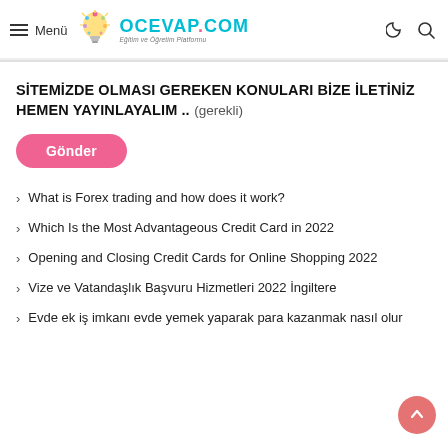≡ Menü | OCEVAP.COM — Eğitim ve Öğretim Platformu
SİTEMİZDE OLMASI GEREKEN KONULARI BİZE İLETİNİZ HEMEN YAYINLAYALIM .. (gerekli)
Gönder
What is Forex trading and how does it work?
Which Is the Most Advantageous Credit Card in 2022
Opening and Closing Credit Cards for Online Shopping 2022
Vize ve Vatandaşlık Başvuru Hizmetleri 2022 İngiltere
Evde ek iş imkanı evde yemek yaparak para kazanmak nasıl olur